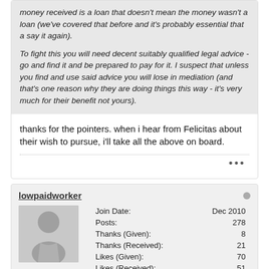money received is a loan that doesn't mean the money wasn't a loan (we've covered that before and it's probably essential that a say it again).
To fight this you will need decent suitably qualified legal advice - go and find it and be prepared to pay for it. I suspect that unless you find and use said advice you will lose in mediation (and that's one reason why they are doing things this way - it's very much for their benefit not yours).
thanks for the pointers. when i hear from Felicitas about their wish to pursue, i'll take all the above on board.
lowpaidworker
| Field | Value |
| --- | --- |
| Join Date: | Dec 2010 |
| Posts: | 278 |
| Thanks (Given): | 8 |
| Thanks (Received): | 21 |
| Likes (Given): | 70 |
| Likes (Received): | 51 |
More time posting than coding
lowpaidworker is good enough for Jehovah!